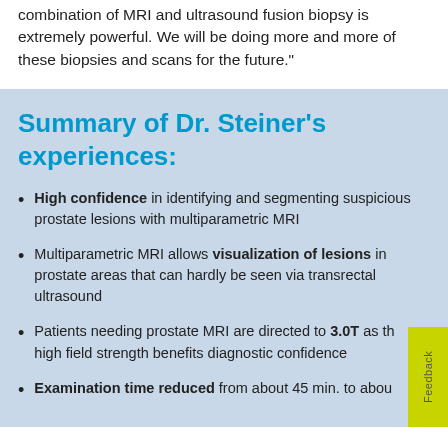combination of MRI and ultrasound fusion biopsy is extremely powerful. We will be doing more and more of these biopsies and scans for the future."
Summary of Dr. Steiner's experiences:
High confidence in identifying and segmenting suspicious prostate lesions with multiparametric MRI
Multiparametric MRI allows visualization of lesions in prostate areas that can hardly be seen via transrectal ultrasound
Patients needing prostate MRI are directed to 3.0T as the high field strength benefits diagnostic confidence
Examination time reduced from about 45 min. to about...